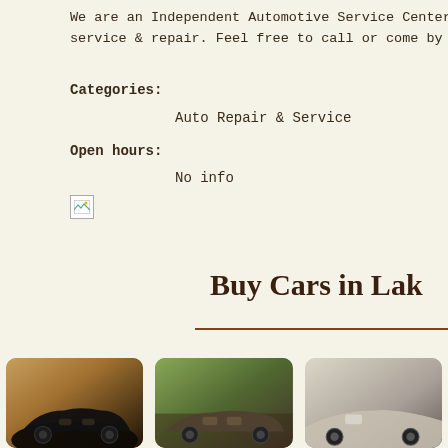We are an Independent Automotive Service Center f... service & repair. Feel free to call or come by our lo...
Categories:
Auto Repair & Service
Open hours:
No info
[Figure (photo): Broken image placeholder icon]
Buy Cars in Lak
[Figure (photo): Black sports car (Mustang) in a parking area]
[Figure (photo): Old classic car parked in a grassy/wooded area]
[Figure (photo): White/light colored car partially visible]